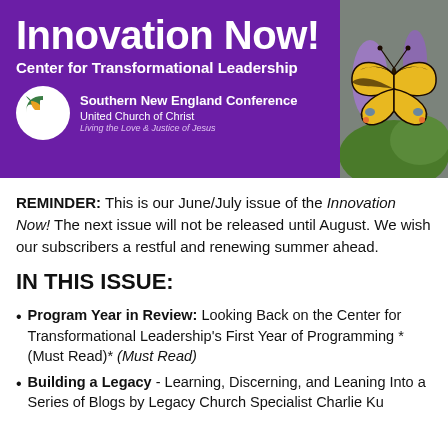Innovation Now! Center for Transformational Leadership — Southern New England Conference, United Church of Christ, Living the Love & Justice of Jesus
[Figure (photo): Photo of a yellow and black swallowtail butterfly on purple flowers, positioned in the top-right corner of the banner.]
REMINDER: This is our June/July issue of the Innovation Now! The next issue will not be released until August. We wish our subscribers a restful and renewing summer ahead.
IN THIS ISSUE:
Program Year in Review: Looking Back on the Center for Transformational Leadership's First Year of Programming (Must Read)
Building a Legacy - Learning, Discerning, and Leaning In: a Series of Blogs by Legacy Church Specialist Charlie Ku...